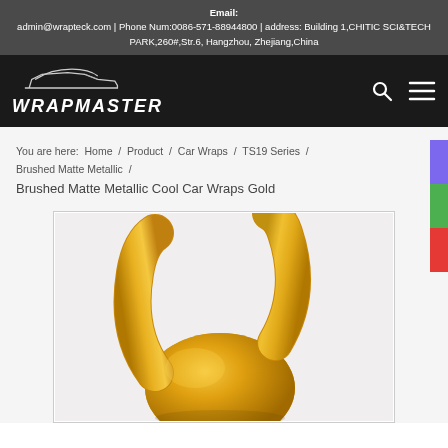Email: admin@wrapteck.com | Phone Num:0086-571-88944800 | address: Building 1,CHITIC SCI&TECH PARK,260#,Str.6, Hangzhou, Zhejiang,China
[Figure (logo): WrapMaster logo with a stylized car silhouette icon above the brand name in italic white letters on black background]
You are here:  Home  /  Product  /  Car Wraps  /  TS19 Series  /  Brushed Matte Metallic  /  Brushed Matte Metallic Cool Car Wraps Gold
[Figure (photo): Close-up photo of golden/yellow brushed matte metallic car wrap vinyl film rolled and shaped, showing the metallic sheen and texture against a white background]